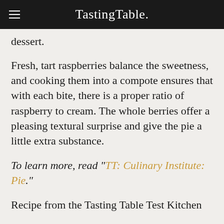TastingTable.
dessert.
Fresh, tart raspberries balance the sweetness, and cooking them into a compote ensures that with each bite, there is a proper ratio of raspberry to cream. The whole berries offer a pleasing textural surprise and give the pie a little extra substance.
To learn more, read "TT: Culinary Institute: Pie."
Recipe from the Tasting Table Test Kitchen